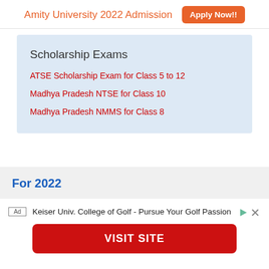Amity University 2022 Admission  Apply Now!!
Scholarship Exams
ATSE Scholarship Exam for Class 5 to 12
Madhya Pradesh NTSE for Class 10
Madhya Pradesh NMMS for Class 8
For 2022
Ad  Keiser Univ. College of Golf - Pursue Your Golf Passion
VISIT SITE